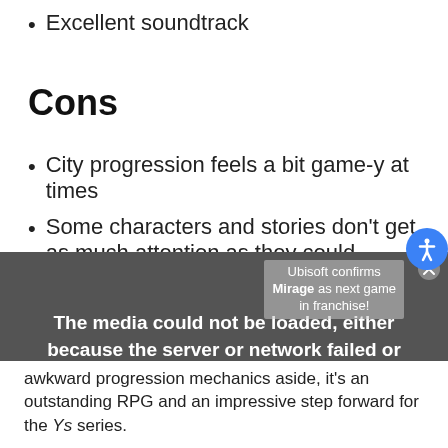Excellent soundtrack
Cons
City progression feels a bit game-y at times
Some characters and stories don't get as much attention as they could
Slight camera and model jank at times
[Figure (other): Video player showing media load error: 'The media could not be loaded, either because the server or network failed or because the format is not supported.' Overlaid with Ubisoft confirms Mirage as next game in franchise text.]
awkward progression mechanics aside, it's an outstanding RPG and an impressive step forward for the Ys series.